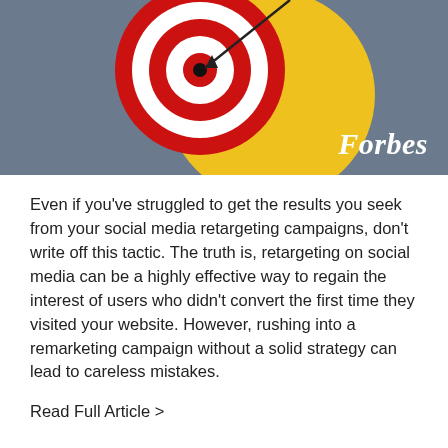[Figure (illustration): Target/bullseye illustration with red and white concentric rings and an arrow hitting the center, on a gray-blue background with a yellow sphere partially visible. Forbes logo in white italic text at bottom right.]
Even if you've struggled to get the results you seek from your social media retargeting campaigns, don't write off this tactic. The truth is, retargeting on social media can be a highly effective way to regain the interest of users who didn't convert the first time they visited your website. However, rushing into a remarketing campaign without a solid strategy can lead to careless mistakes.
Read Full Article >
10 Must-Attend Conferences For Agency Owners And Professionals